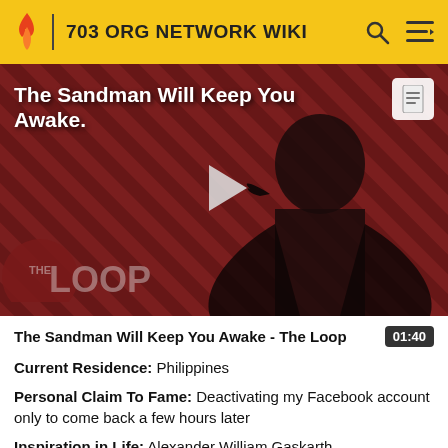703 ORG NETWORK WIKI
[Figure (screenshot): Video thumbnail showing a person in black against a dark red diagonal striped background with 'THE LOOP' logo overlay and a play button. Title overlay reads 'The Sandman Will Keep You Awake.']
The Sandman Will Keep You Awake - The Loop  01:40
Current Residence: Philippines
Personal Claim To Fame: Deactivating my Facebook account only to come back a few hours later
Inspiration in Life: Alexander William Gaskarth